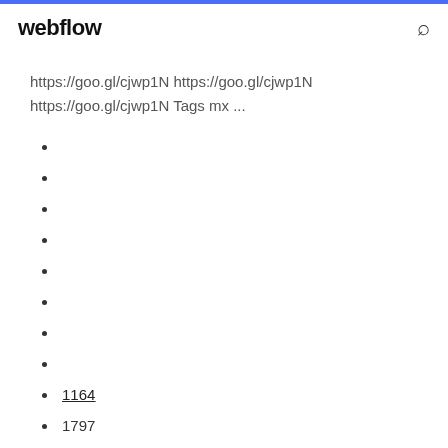webflow
https://goo.gl/cjwp1N https://goo.gl/cjwp1N https://goo.gl/cjwp1N Tags mx ...
1164
1797